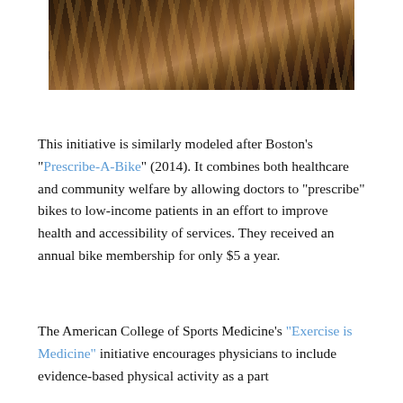[Figure (photo): Close-up photograph of bicycle wheels/tires lined up, tan/brown colored tires visible against a dark floor background.]
This initiative is similarly modeled after Boston's "Prescribe-A-Bike" (2014). It combines both healthcare and community welfare by allowing doctors to "prescribe" bikes to low-income patients in an effort to improve health and accessibility of services. They received an annual bike membership for only $5 a year.
The American College of Sports Medicine's "Exercise is Medicine" initiative encourages physicians to include evidence-based physical activity as a part